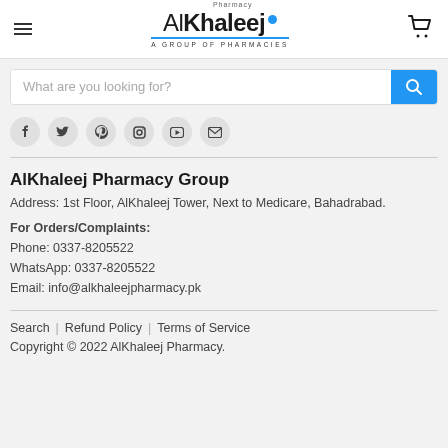[Figure (logo): Al Khaleej Pharmacy - A Group of Pharmacies logo with hamburger menu and cart icon]
[Figure (screenshot): Search bar with placeholder 'What are you looking for?' and blue search button]
[Figure (infographic): Social media icons: Facebook, Twitter, Pinterest, Instagram, YouTube, Email]
AlKhaleej Pharmacy Group
Address: 1st Floor, AlKhaleej Tower, Next to Medicare, Bahadrabad.
For Orders/Complaints:
Phone: 0337-8205522
WhatsApp: 0337-8205522
Email: info@alkhaleejpharmacy.pk
Search | Refund Policy | Terms of Service
Copyright © 2022 AlKhaleej Pharmacy.